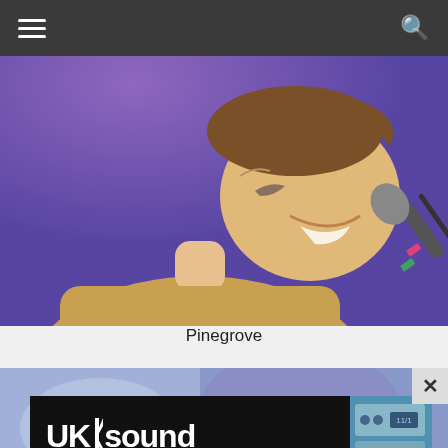Navigation bar with menu and search icons
[Figure (photo): A male singer smiling and singing into a microphone on stage, lit with purple/blue stage lighting, wearing a tan/yellow sweatshirt. Stage performance photo of Pinegrove artist.]
Pinegrove
[Figure (photo): Partial view of another concert/performance photo with blue-purple tones, partially covered by an advertisement overlay for UK Sound.]
[Figure (infographic): UK Sound advertisement banner with black background. Large white bold text reads 'UKsound' with a stylized K. Tagline reads 'Studio Sound at an Affordable Price'. Right side shows image of audio equipment/rack unit. Close button (X) appears in top right corner.]